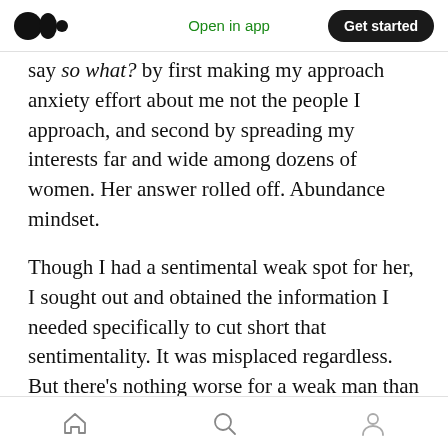Open in app | Get started
say so what? by first making my approach anxiety effort about me not the people I approach, and second by spreading my interests far and wide among dozens of women. Her answer rolled off. Abundance mindset.
Though I had a sentimental weak spot for her, I sought out and obtained the information I needed specifically to cut short that sentimentality. It was misplaced regardless. But there's nothing worse for a weak man than letting a prolonged idealization fester and grow
Home | Search | Profile